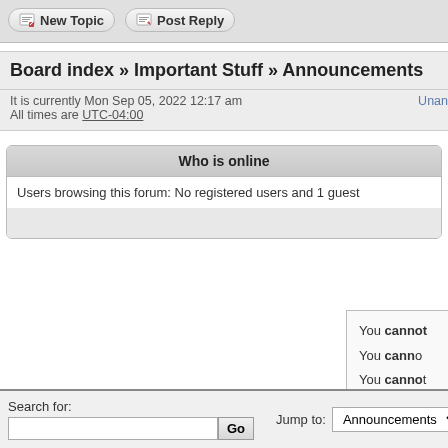[Figure (screenshot): Forum action buttons: New Topic and Post Reply]
Board index » Important Stuff » Announcements
It is currently Mon Sep 05, 2022 12:17 am
All times are UTC-04:00
Who is online
Users browsing this forum: No registered users and 1 guest
You cannot
You cannot
You cannot
You cannot d
You cannot p
Search for:
Jump to: Announcements